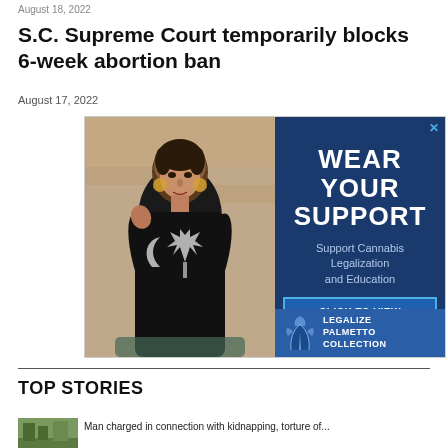August 18, 2022
S.C. Supreme Court temporarily blocks 6-week abortion ban
August 17, 2022
[Figure (photo): Advertisement: Woman wearing a black t-shirt with cannabis/moon design. Right side says 'WEAR YOUR SUPPORT - Support Cannabis Legalization and Education - CLICK TO VIEW COLLECTION' with Legalize Palmetto Collection logo at bottom.]
TOP STORIES
[Figure (photo): Thumbnail image for a news story.]
Man charged in connection with kidnapping, torture of...